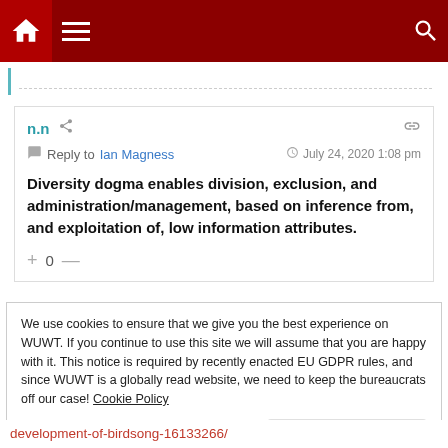Navigation bar with home, menu, and search icons
Reply to Ian Magness — July 24, 2020 1:08 pm — n.n
Diversity dogma enables division, exclusion, and administration/management, based on inference from, and exploitation of, low information attributes.
+ 0 —
We use cookies to ensure that we give you the best experience on WUWT. If you continue to use this site we will assume that you are happy with it. This notice is required by recently enacted EU GDPR rules, and since WUWT is a globally read website, we need to keep the bureaucrats off our case! Cookie Policy
Close and accept
development-of-birdsong-16133266/